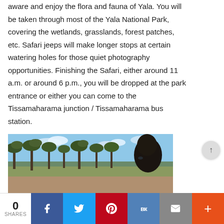aware and enjoy the flora and fauna of Yala. You will be taken through most of the Yala National Park, covering the wetlands, grasslands, forest patches, etc. Safari jeeps will make longer stops at certain watering holes for those quiet photography opportunities. Finishing the Safari, either around 11 a.m. or around 6 p.m., you will be dropped at the park entrance or either you can come to the Tissamaharama junction / Tissamaharama bus station.
[Figure (photo): Photo of a person in a safari jeep looking out at dry woodland/savanna landscape with sparse trees under a partly cloudy sky.]